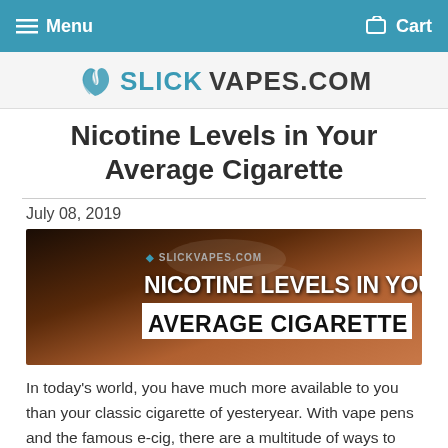Menu  Cart
[Figure (logo): SlickVapes.com logo with teal swirl icon and bold text]
Nicotine Levels in Your Average Cigarette
July 08, 2019
[Figure (photo): Banner image with dark smoky background showing hands with cigarette, text overlay: SLICKVAPES.COM, NICOTINE LEVELS IN YOUR AVERAGE CIGARETTE]
In today's world, you have much more available to you than your classic cigarette of yesteryear. With vape pens and the famous e-cig, there are a multitude of ways to smoke. However, smokers of all stripes still have a basic question